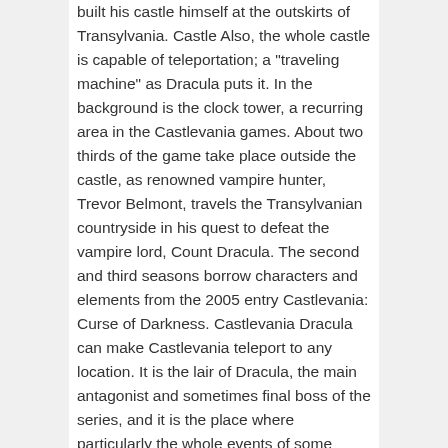built his castle himself at the outskirts of Transylvania. Castle Also, the whole castle is capable of teleportation; a "traveling machine" as Dracula puts it. In the background is the clock tower, a recurring area in the Castlevania games. About two thirds of the game take place outside the castle, as renowned vampire hunter, Trevor Belmont, travels the Transylvanian countryside in his quest to defeat the vampire lord, Count Dracula. The second and third seasons borrow characters and elements from the 2005 entry Castlevania: Curse of Darkness. Castlevania Dracula can make Castlevania teleport to any location. It is the lair of Dracula, the main antagonist and sometimes final boss of the series, and it is the place where particularly the whole events of some Castlevania games take place. As her plan was left in ruins, the castle completely collapsed. 1. Being an entity of chaos, it has the ability to reemerge in different places whenever it revives. Castle At the end of the path is this sub-world's boss, Dracula. This one from seifersama has to be the best one. Not including technology that is centuries beyond what the outside world possesses, Castlevania is also operated with supernatural elements. Thingiverse is a universe of things. While the castle, or a replacement, has appeared in every game that conforms the Castlevania